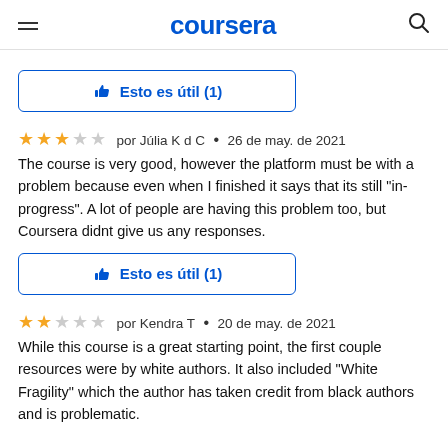coursera
[Figure (other): Thumbs up button with text 'Esto es útil (1)' in blue border rounded rectangle]
★★★☆☆ por Júlia K d C • 26 de may. de 2021
The course is very good, however the platform must be with a problem because even when I finished it says that its still "in-progress". A lot of people are having this problem too, but Coursera didnt give us any responses.
[Figure (other): Thumbs up button with text 'Esto es útil (1)' in blue border rounded rectangle]
★★☆☆☆ por Kendra T • 20 de may. de 2021
While this course is a great starting point, the first couple resources were by white authors. It also included "White Fragility" which the author has taken credit from black authors and is problematic.